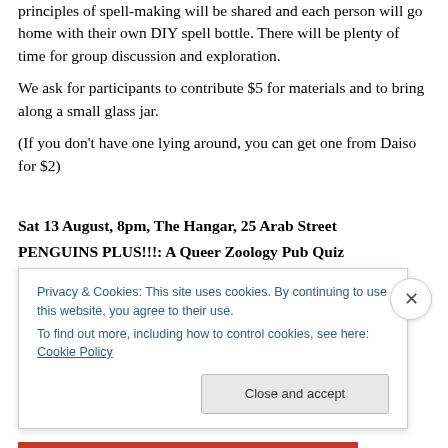principles of spell-making will be shared and each person will go home with their own DIY spell bottle. There will be plenty of time for group discussion and exploration.
We ask for participants to contribute $5 for materials and to bring along a small glass jar.
(If you don't have one lying around, you can get one from Daiso for $2)
Sat 13 August, 8pm, The Hangar, 25 Arab Street
PENGUINS PLUS!!!: A Queer Zoology Pub Quiz
Privacy & Cookies: This site uses cookies. By continuing to use this website, you agree to their use.
To find out more, including how to control cookies, see here: Cookie Policy